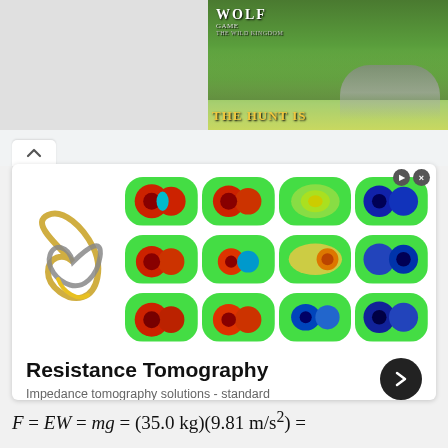[Figure (illustration): Wolf Game 'The Wild Kingdom' advertisement banner with wolves in a forest meadow background and text 'THE HUNT IS']
[Figure (illustration): Resistance Tomography ad showing a 4x3 grid of EIT heatmap images with a logo on the left side showing abstract leaf/infinity symbol]
Resistance Tomography
Impedance tomography solutions - standard instruments, cusomized setups & OEM solutions.